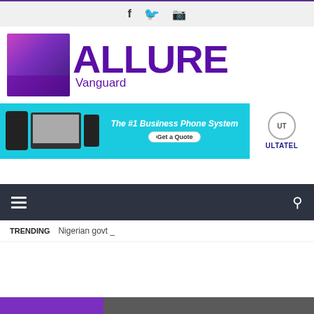Social icons: Facebook, Twitter, Instagram
[Figure (logo): Allure Vanguard logo with woman in purple dress and large purple ALLURE text with Vanguard subtitle]
[Figure (other): Advertisement banner: ULTATEL - The #1 Business Phone System - Get a Quote]
[Figure (other): Navigation bar with hamburger menu and search icon on dark background]
TRENDING  Nigerian govt _